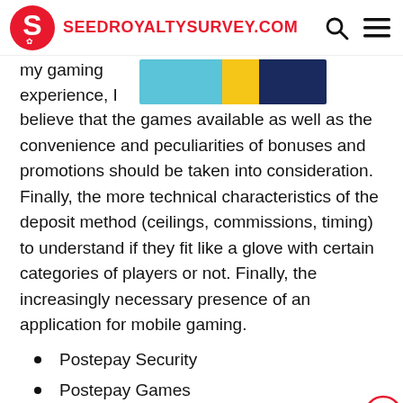SEEDROYALTYSURVEY.COM
my gaming experience, I believe that the games available as well as the convenience and peculiarities of bonuses and promotions should be taken into consideration. Finally, the more technical characteristics of the deposit method (ceilings, commissions, timing) to understand if they fit like a glove with certain categories of players or not. Finally, the increasingly necessary presence of an application for mobile gaming.
Postepay Security
Postepay Games
Postepay Bonus